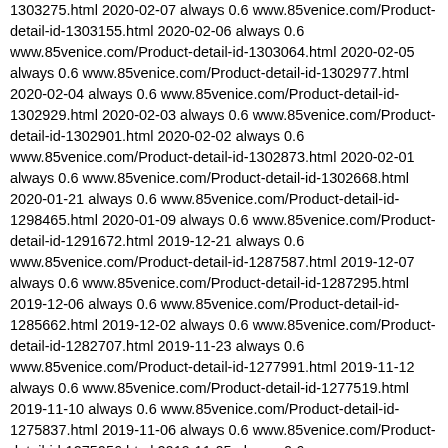1303275.html 2020-02-07 always 0.6 www.85venice.com/Product-detail-id-1303155.html 2020-02-06 always 0.6 www.85venice.com/Product-detail-id-1303064.html 2020-02-05 always 0.6 www.85venice.com/Product-detail-id-1302977.html 2020-02-04 always 0.6 www.85venice.com/Product-detail-id-1302929.html 2020-02-03 always 0.6 www.85venice.com/Product-detail-id-1302901.html 2020-02-02 always 0.6 www.85venice.com/Product-detail-id-1302873.html 2020-02-01 always 0.6 www.85venice.com/Product-detail-id-1302668.html 2020-01-21 always 0.6 www.85venice.com/Product-detail-id-1298465.html 2020-01-09 always 0.6 www.85venice.com/Product-detail-id-1291672.html 2019-12-21 always 0.6 www.85venice.com/Product-detail-id-1287587.html 2019-12-07 always 0.6 www.85venice.com/Product-detail-id-1287295.html 2019-12-06 always 0.6 www.85venice.com/Product-detail-id-1285662.html 2019-12-02 always 0.6 www.85venice.com/Product-detail-id-1282707.html 2019-11-23 always 0.6 www.85venice.com/Product-detail-id-1277991.html 2019-11-12 always 0.6 www.85venice.com/Product-detail-id-1277519.html 2019-11-10 always 0.6 www.85venice.com/Product-detail-id-1275837.html 2019-11-06 always 0.6 www.85venice.com/Product-detail-id-1275056.html 2019-11-05 always 0.6 www.85venice.com/Product-detail-id-1274464.html 2019-11-04 always 0.6 www.85venice.com/Product-detail-id-1272820.html 2019-10-30 always 0.6 www.85venice.com/Product-detail-id-1272214.html 2019-10-28 always 0.6 www.85venice.com/Product-detail-id-